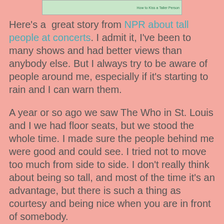[Figure (screenshot): Partial screenshot of a web image with green banner text at bottom right reading 'How to Kiss a Taller Person']
Here's a great story from NPR about tall people at concerts. I admit it, I've been to many shows and had better views than anybody else. But I always try to be aware of people around me, especially if it's starting to rain and I can warn them.
A year or so ago we saw The Who in St. Louis and I we had floor seats, but we stood the whole time. I made sure the people behind me were good and could see. I tried not to move too much from side to side. I don't really think about being so tall, and most of the time it's an advantage, but there is such a thing as courtesy and being nice when you are in front of somebody.
Thank goodness I don't have a "cereal box head" to make it even worse.
Rodney Hart at 11:40 AM   No comments:
Share